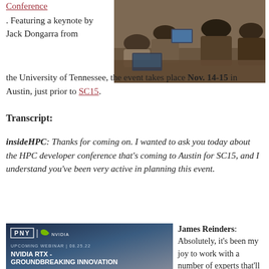Conference. Featuring a keynote by Jack Dongarra from the University of Tennessee, the event takes place Nov. 14-15 in Austin, just prior to SC15.
[Figure (photo): Photo of people at a conference, seated at tables with laptops, viewed from behind.]
Transcript:
insideHPC: Thanks for coming on. I wanted to ask you today about the HPC developer conference that's coming to Austin for SC15, and I understand you've been very active in planning this event.
[Figure (screenshot): PNY NVIDIA advertisement banner. UPCOMING WEBINAR | 08.25.22. NVIDIA RTX - GROUNDBREAKING INNOVATION IS MORE ACCESSIBLE THAN EVER]
James Reinders: Absolutely, it's been my joy to work with a number of experts that'll be doing